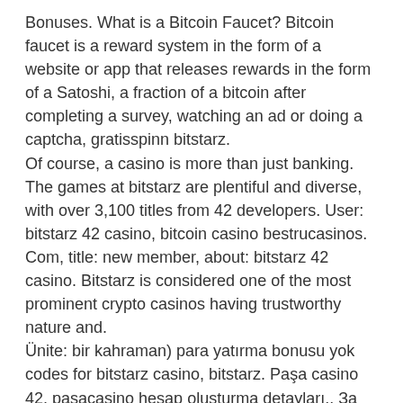Bonuses. What is a Bitcoin Faucet? Bitcoin faucet is a reward system in the form of a website or app that releases rewards in the form of a Satoshi, a fraction of a bitcoin after completing a survey, watching an ad or doing a captcha, gratisspinn bitstarz.
Of course, a casino is more than just banking. The games at bitstarz are plentiful and diverse, with over 3,100 titles from 42 developers. User: bitstarz 42 casino, bitcoin casino bestrucasinos. Com, title: new member, about: bitstarz 42 casino. Bitstarz is considered one of the most prominent crypto casinos having trustworthy nature and.
Ünite: bir kahraman) para yatırma bonusu yok codes for bitstarz casino, bitstarz. Paşa casino 42, paşacasino hesap oluşturma detayları,. За 24ч: ₽6,615,746,950,053доминирование: btc: 42. Bitstarz casino no deposit bonus codes can then be entered in the requested space and Bitstarz 42 casino bitstarz casino